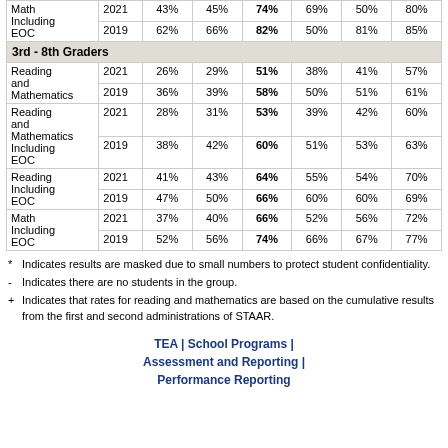| Subject | Year |  |  |  |  |  |  |
| --- | --- | --- | --- | --- | --- | --- | --- |
| Math Including EOC | 2021 | 43% | 45% | 74% | 69% | 50% | 80% |
| Math Including EOC | 2019 | 62% | 66% | 82% | 50% | 81% | 85% |
| 3rd - 8th Graders |  |  |  |  |  |  |  |
| Reading and Mathematics | 2021 | 26% | 29% | 51% | 38% | 41% | 57% |
| Reading and Mathematics | 2019 | 36% | 39% | 58% | 50% | 51% | 61% |
| Reading and Mathematics Including EOC | 2021 | 28% | 31% | 53% | 39% | 42% | 60% |
| Reading and Mathematics Including EOC | 2019 | 38% | 42% | 60% | 51% | 53% | 63% |
| Reading Including EOC | 2021 | 41% | 43% | 64% | 55% | 54% | 70% |
| Reading Including EOC | 2019 | 47% | 50% | 66% | 60% | 60% | 69% |
| Math Including EOC | 2021 | 37% | 40% | 66% | 52% | 56% | 72% |
| Math Including EOC | 2019 | 52% | 56% | 74% | 66% | 67% | 77% |
* Indicates results are masked due to small numbers to protect student confidentiality.
- Indicates there are no students in the group.
+ Indicates that rates for reading and mathematics are based on the cumulative results from the first and second administrations of STAAR.
TEA | School Programs | Assessment and Reporting | Performance Reporting